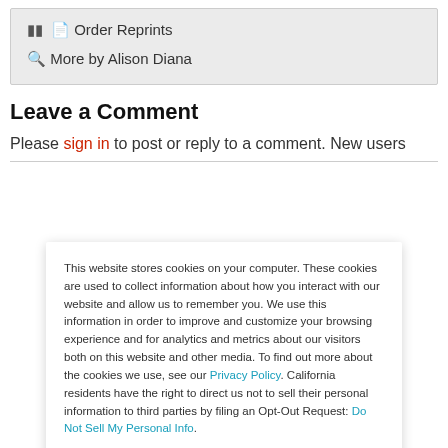Order Reprints
More by Alison Diana
Leave a Comment
Please sign in to post or reply to a comment. New users
This website stores cookies on your computer. These cookies are used to collect information about how you interact with our website and allow us to remember you. We use this information in order to improve and customize your browsing experience and for analytics and metrics about our visitors both on this website and other media. To find out more about the cookies we use, see our Privacy Policy. California residents have the right to direct us not to sell their personal information to third parties by filing an Opt-Out Request: Do Not Sell My Personal Info.
Accept